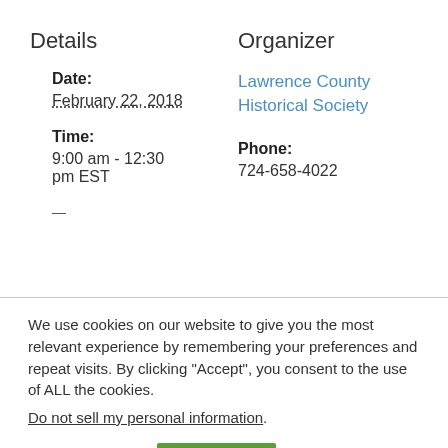Details
Organizer
Date:
February 22, 2018
Lawrence County Historical Society
Time:
9:00 am - 12:30 pm EST
Phone:
724-658-4022
We use cookies on our website to give you the most relevant experience by remembering your preferences and repeat visits. By clicking “Accept”, you consent to the use of ALL the cookies.
Do not sell my personal information.
Cookie settings
ACCEPT